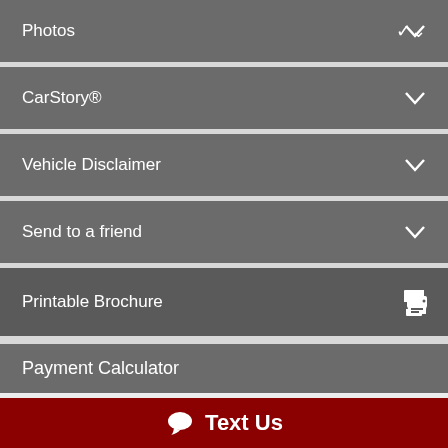Photos
CarStory®
Vehicle Disclaimer
Send to a friend
Printable Brochure
Payment Calculator
Loan Amount ($):
15495.00
Down Payment ($):
Text Us